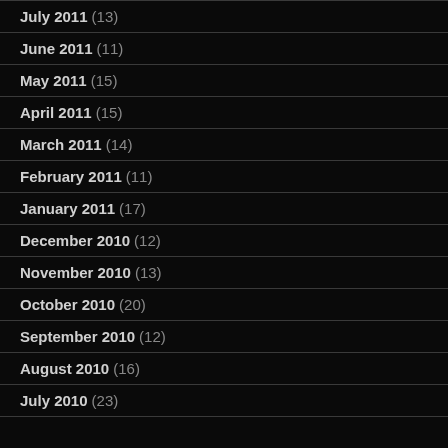July 2011 (13)
June 2011 (11)
May 2011 (15)
April 2011 (15)
March 2011 (14)
February 2011 (11)
January 2011 (17)
December 2010 (12)
November 2010 (13)
October 2010 (20)
September 2010 (12)
August 2010 (16)
July 2010 (23)